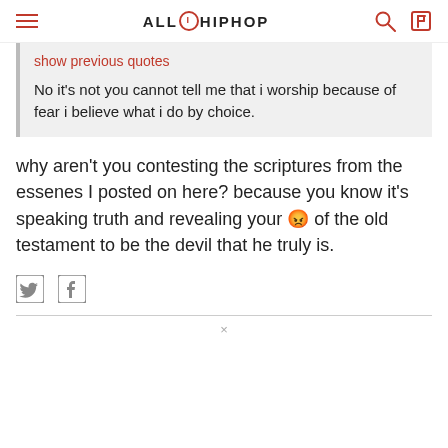ALL HIP HOP
show previous quotes
No it's not you cannot tell me that i worship because of fear i believe what i do by choice.
why aren't you contesting the scriptures from the essenes I posted on here? because you know it's speaking truth and revealing your 😡 of the old testament to be the devil that he truly is.
[Figure (infographic): Twitter and Facebook social share icons]
×